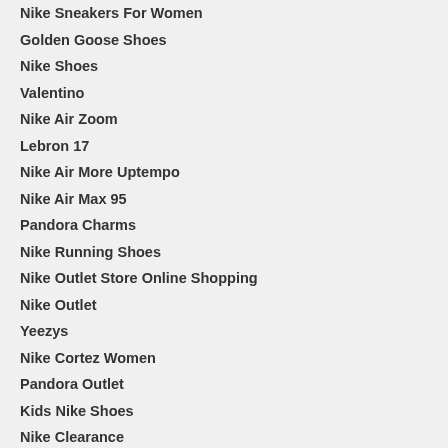Nike Sneakers For Women
Golden Goose Shoes
Nike Shoes
Valentino
Nike Air Zoom
Lebron 17
Nike Air More Uptempo
Nike Air Max 95
Pandora Charms
Nike Running Shoes
Nike Outlet Store Online Shopping
Nike Outlet
Yeezys
Nike Cortez Women
Pandora Outlet
Kids Nike Shoes
Nike Clearance
Nike Running Shoes
Pandora
Nike Free Run
Pandora Rings
Pandora Bracelets And Charms
Pandora Bracelet